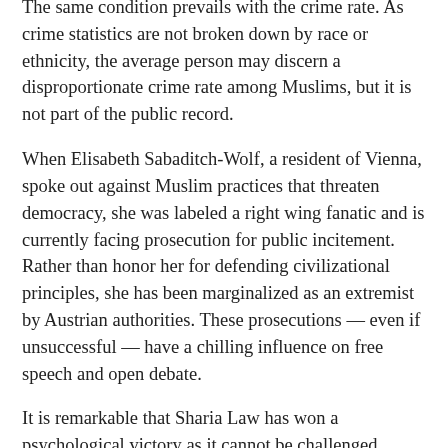The same condition prevails with the crime rate. As crime statistics are not broken down by race or ethnicity, the average person may discern a disproportionate crime rate among Muslims, but it is not part of the public record.
When Elisabeth Sabaditch-Wolf, a resident of Vienna, spoke out against Muslim practices that threaten democracy, she was labeled a right wing fanatic and is currently facing prosecution for public incitement. Rather than honor her for defending civilizational principles, she has been marginalized as an extremist by Austrian authorities. These prosecutions — even if unsuccessful — have a chilling influence on free speech and open debate.
It is remarkable that Sharia Law has won a psychological victory as it cannot be challenged without judicial investigation. Yet Sharia, in essence, cannot tolerate apostasy. Apostates, according to Koranic principles, must either convert, submit or die. This is a direct contradiction of democratic ideals and a violation of liberal religious practices established over centuries of bloodletting. Now, without a shot being fired, the Austrians have seemingly conceded. All it takes on the possibility of raising a word, the expression...